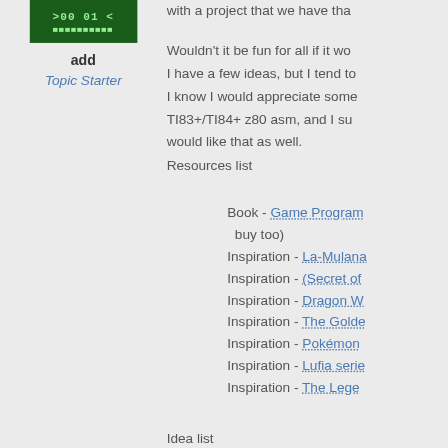[Figure (illustration): Green pixel art / terminal-style avatar image with text characters on dark green background]
add
Topic Starter
with a project that we have tha...

Wouldn't it be fun for all if it wo...
I have a few ideas, but I tend to...
I know I would appreciate some...
TI83+/TI84+ z80 asm, and I su...
would like that as well.
Resources list
Book - Game Program... (buy too)
Inspiration - La-Mulana...
Inspiration - (Secret of...
Inspiration - Dragon W...
Inspiration - The Golde...
Inspiration - Pokémon...
Inspiration - Lufia serie...
Inspiration - The Lege...
Idea list
z80:
* Famicom Wars-like g... add.